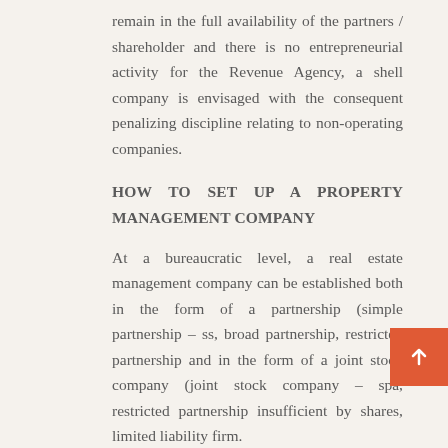remain in the full availability of the partners / shareholder and there is no entrepreneurial activity for the Revenue Agency, a shell company is envisaged with the consequent penalizing discipline relating to non-operating companies.
HOW TO SET UP A PROPERTY MANAGEMENT COMPANY
At a bureaucratic level, a real estate management company can be established both in the form of a partnership (simple partnership – ss, broad partnership, restricted partnership and in the form of a joint stock company (joint stock company – spa, restricted partnership insufficient by shares, limited liability firm.
COSTS OF TRANSFERRING PROPERTIES TO COMPANIES
Before choosing whether the real estate company is the right choice, it is necessary to evaluate the transfer of the properties. When the shareholder transfers the properties